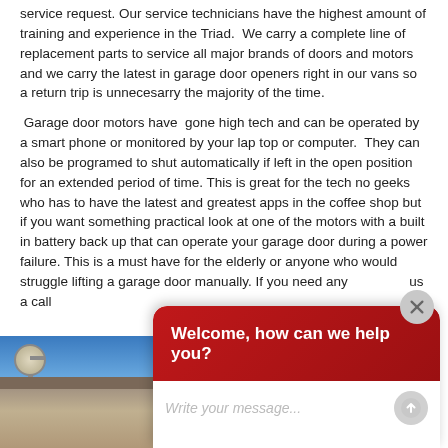service request. Our service technicians have the highest amount of training and experience in the Triad.  We carry a complete line of replacement parts to service all major brands of doors and motors and we carry the latest in garage door openers right in our vans so a return trip is unnecesarry the majority of the time.
Garage door motors have  gone high tech and can be operated by a smart phone or monitored by your lap top or computer.  They can also be programed to shut automatically if left in the open position for an extended period of time. This is great for the tech no geeks who has to have the latest and greatest apps in the coffee shop but if you want something practical look at one of the motors with a built in battery back up that can operate your garage door during a power failure. This is a must have for the elderly or anyone who would struggle lifting a garage door manually. If you need any us a call
[Figure (screenshot): Chat widget overlay with red header saying 'Welcome, how can we help you?' and a text input field below with placeholder 'Write your message...' and a send button. A close button (X) appears in the top-right corner of the overlay.]
[Figure (photo): Bottom-left photo showing a street lamp and brick house exterior against a blue sky.]